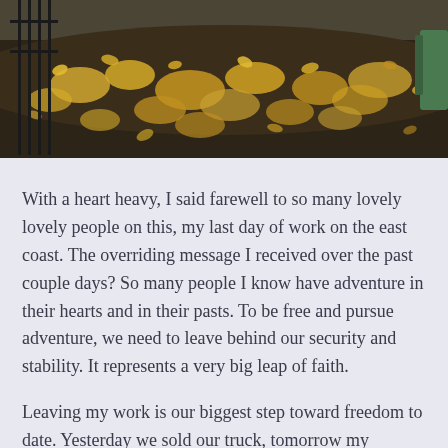[Figure (photo): Outdoor photo showing fallen autumn leaves (yellow/golden) scattered on dark soil ground, with a black metal fence visible on the left side and a green object partially visible on the right. The scene is a park or garden in fall/autumn.]
With a heart heavy, I said farewell to so many lovely lovely people on this, my last day of work on the east coast. The overriding message I received over the past couple days? So many people I know have adventure in their hearts and in their pasts. To be free and pursue adventure, we need to leave behind our security and stability. It represents a very big leap of faith.
Leaving my work is our biggest step toward freedom to date. Yesterday we sold our truck, tomorrow my convertible since 2006 goes on eBay. Letting go becomes a bit easier as we go along, though I know there are a few tough days ahead.
In another seven to 10 days we will let go of these breathtaking and ever-changing views, right outside our door. Next I